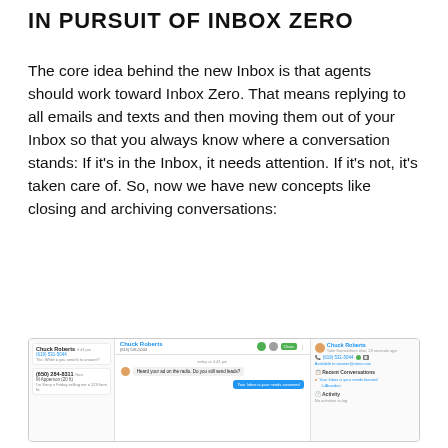IN PURSUIT OF INBOX ZERO
The core idea behind the new Inbox is that agents should work toward Inbox Zero. That means replying to all emails and texts and then moving them out of your Inbox so that you always know where a conversation stands: If it's in the Inbox, it needs attention. If it's not, it's taken care of. So, now we have new concepts like closing and archiving conversations:
[Figure (screenshot): A screenshot of a customer messaging inbox interface showing a conversation list on the left, a chat thread in the center with a message 'Heard your ad on the radio. Do you still send leads?' and a blue automated response, and a contact info panel on the right showing Chuck Roberts' details, recent conversations, and activity sections.]